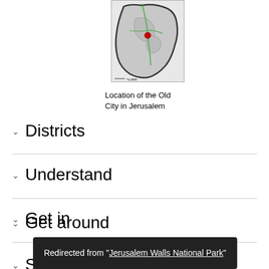[Figure (map): Map showing the location of the Old City in Jerusalem, with green route lines and dark border outline on a light grey background.]
Location of the Old City in Jerusalem
Districts
Understand
Get in
Get around
See
Redirected from "Jerusalem Walls National Park"